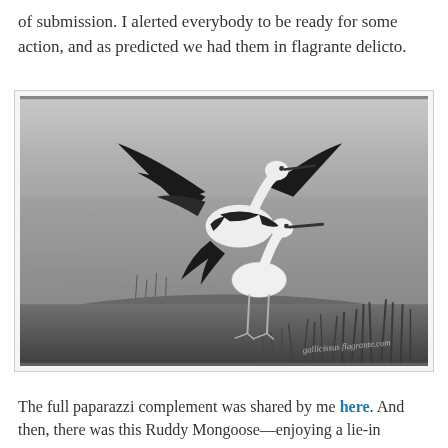of submission. I alerted everybody to be ready for some action, and as predicted we had them in flagrante delicto.
[Figure (photo): Black and white photograph of two wading birds (stilts) mating near a body of water with tall grass in the foreground. The top bird has wings spread wide showing black and white plumage. A watermark is visible in the lower right corner.]
The full paparazzi complement was shared by me here. And then, there was this Ruddy Mongoose—enjoying a lie-in